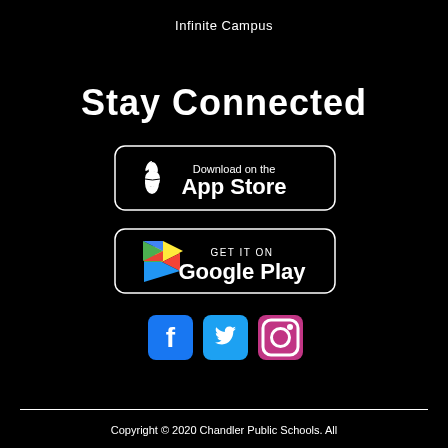Infinite Campus
Stay Connected
[Figure (logo): Download on the App Store button — black rounded rectangle with white Apple logo and text 'Download on the App Store']
[Figure (logo): Get it on Google Play button — black rounded rectangle with Google Play triangle logo and text 'GET IT ON Google Play']
[Figure (logo): Social media icons: Facebook (blue square with f), Twitter (light blue square with bird), Instagram (pink/magenta square with camera outline)]
Copyright © 2020 Chandler Public Schools. All